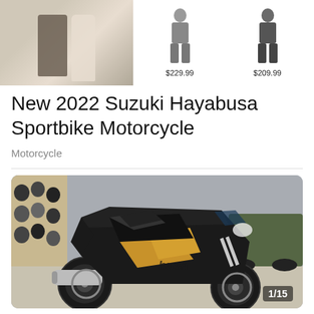[Figure (photo): Top banner showing a wedding couple photo on the left, and two product listings with mannequin silhouettes priced at $229.99 and $209.99 on the right]
New 2022 Suzuki Hayabusa Sportbike Motorcycle
Motorcycle
[Figure (photo): Photo of a black and gold 2022 Suzuki Hayabusa sportbike motorcycle displayed in a dealer showroom with helmets on the wall and other motorcycles in the background. Counter shows 1/15.]